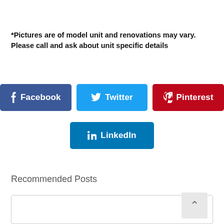*Pictures are of model unit and renovations may vary.  Please call and ask about unit specific details
[Figure (other): Social sharing buttons: Facebook, Twitter, Pinterest, LinkedIn]
Recommended Posts
[Figure (other): Empty bordered box with back-to-top arrow button]